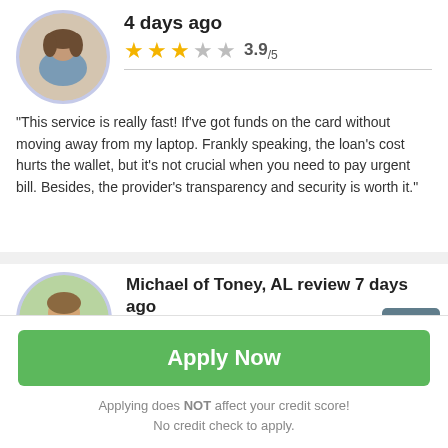4 days ago
3.9/5
“This service is really fast! If’ve got funds on the card without moving away from my laptop. Frankly speaking, the loan’s cost hurts the wallet, but it’s not crucial when you need to pay urgent bill. Besides, the provider’s transparency and security is worth it.”
Michael of Toney, AL review 7 days ago
5.0/5
Apply Now
Applying does NOT affect your credit score!
No credit check to apply.